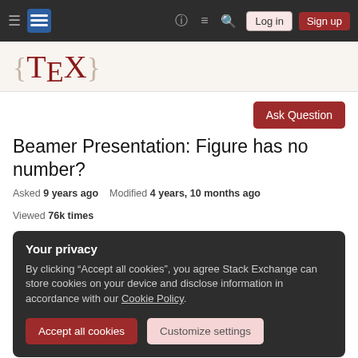TeX Stack Exchange navigation bar with Log in and Sign up buttons
[Figure (logo): TeX Stack Exchange logo with {TeX} text in dark red serif font on cream background]
Ask Question
Beamer Presentation: Figure has no number?
Asked 9 years ago   Modified 4 years, 10 months ago   Viewed 76k times
Your privacy
By clicking "Accept all cookies", you agree Stack Exchange can store cookies on your device and disclose information in accordance with our Cookie Policy.
Accept all cookies   Customize settings